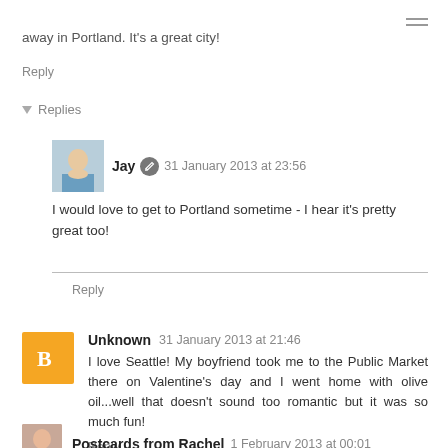away in Portland. It's a great city!
Reply
▾ Replies
Jay  31 January 2013 at 23:56
I would love to get to Portland sometime - I hear it's pretty great too!
Reply
Unknown  31 January 2013 at 21:46
I love Seattle! My boyfriend took me to the Public Market there on Valentine's day and I went home with olive oil...well that doesn't sound too romantic but it was so much fun!
Reply
Postcards from Rachel  1 February 2013 at 00:01